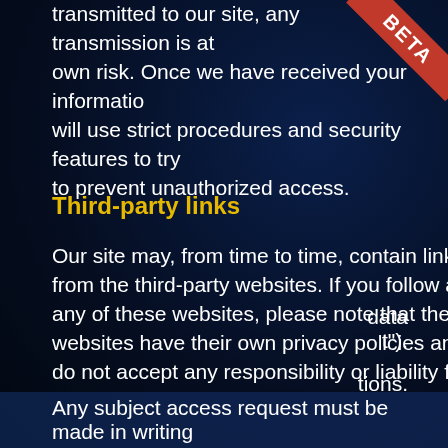transmitted to our site, any transmission is at own risk. Once we have received your information, will use strict procedures and security features to try to prevent unauthorized access.
Third-party links
Our site may, from time to time, contain links to and from the third-party websites. If you follow a link to any of these websites, please note that these websites have their own privacy policies and that we do not accept any responsibility or liability for these
By using this website, you agree to accept the Terms and Conditions, Privacy Policy and Cookies Policy.
data t").
tions.
Any subject access request must be made in writing